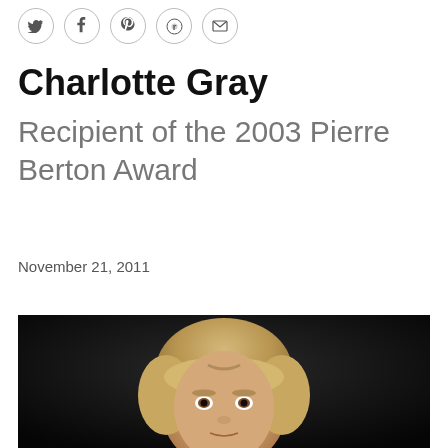[Figure (other): Social media sharing icons: Twitter, Facebook, Pinterest, Reddit, Email — circular outlined icons in a row]
Charlotte Gray
Recipient of the 2003 Pierre Berton Award
November 21, 2011
[Figure (photo): Black and white portrait photograph of Charlotte Gray, a woman with short blonde hair and bangs, looking slightly upward, against a dark background]